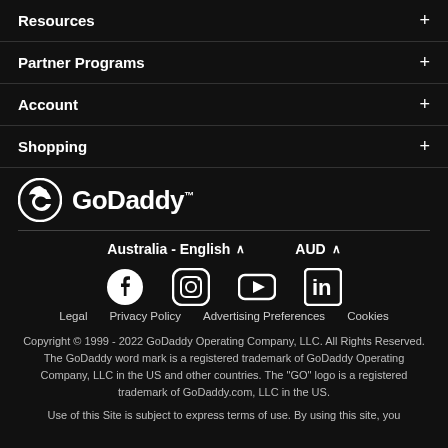Resources +
Partner Programs +
Account +
Shopping +
[Figure (logo): GoDaddy logo with circular G icon and GoDaddy wordmark in white on black background]
Australia - English  ^    AUD  ^
[Figure (infographic): Social media icons: Facebook, Instagram, YouTube, LinkedIn]
Legal   Privacy Policy   Advertising Preferences   Cookies
Copyright © 1999 - 2022 GoDaddy Operating Company, LLC. All Rights Reserved. The GoDaddy word mark is a registered trademark of GoDaddy Operating Company, LLC in the US and other countries. The "GO" logo is a registered trademark of GoDaddy.com, LLC in the US.
Use of this Site is subject to express terms of use. By using this site, you